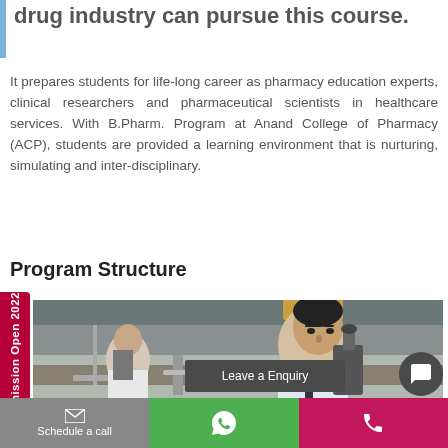drug industry can pursue this course.
It prepares students for life-long career as pharmacy education experts, clinical researchers and pharmaceutical scientists in healthcare services. With B.Pharm. Program at Anand College of Pharmacy (ACP), students are provided a learning environment that is nurturing, simulating and inter-disciplinary.
Program Structure
[Figure (photo): A pharmacy student in a white lab coat looking through a microscope in a laboratory setting, with another student in the background also using a microscope.]
Leave a Enquiry
Schedule a call
Admission Open 2022